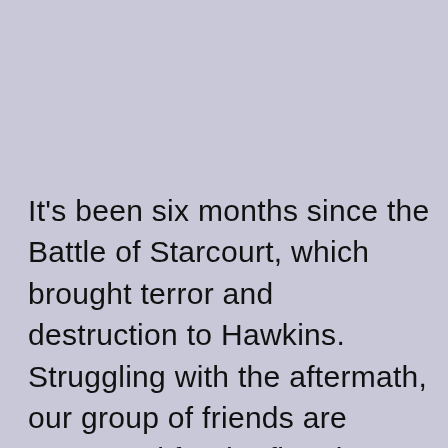It's been six months since the Battle of Starcourt, which brought terror and destruction to Hawkins. Struggling with the aftermath, our group of friends are separated for the first time – and navigating the complexities of high school hasn't made things any easier. In this most vulnerable time, a new and horrifying supernatural threat surfaces, presenting a gruesome mystery that, if solved, might finally